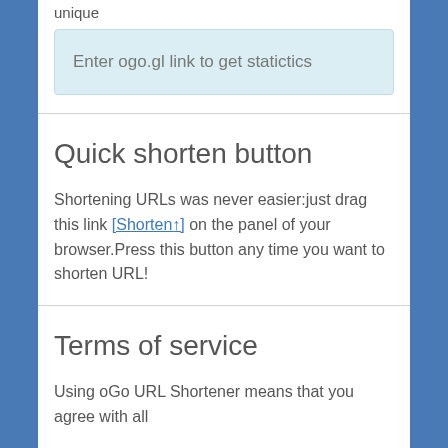unique
Enter ogo.gl link to get statictics
Quick shorten button
Shortening URLs was never easier:just drag this link [Shorten↑] on the panel of your browser.Press this button any time you want to shorten URL!
Terms of service
Using oGo URL Shortener means that you agree with all